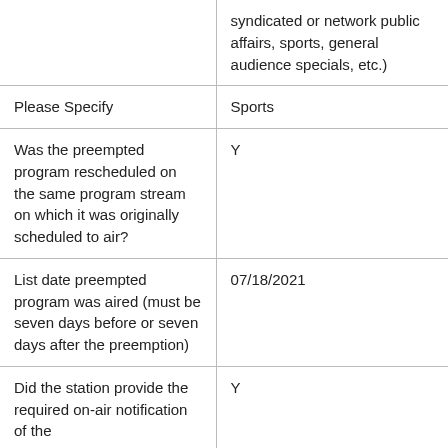|  | syndicated or network public affairs, sports, general audience specials, etc.) |
| Please Specify | Sports |
| Was the preempted program rescheduled on the same program stream on which it was originally scheduled to air? | Y |
| List date preempted program was aired (must be seven days before or seven days after the preemption) | 07/18/2021 |
| Did the station provide the required on-air notification of the | Y |